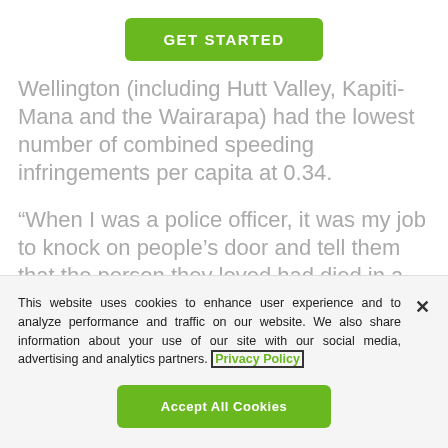[Figure (other): Green 'GET STARTED' button]
Wellington (including Hutt Valley, Kapiti-Mana and the Wairarapa) had the lowest number of combined speeding infringements per capita at 0.34.
“When I was a police officer, it was my job to knock on people’s door and tell them that the person they loved had died in a
This website uses cookies to enhance user experience and to analyze performance and traffic on our website. We also share information about your use of our site with our social media, advertising and analytics partners. Privacy Policy
[Figure (other): Green 'Accept All Cookies' button]